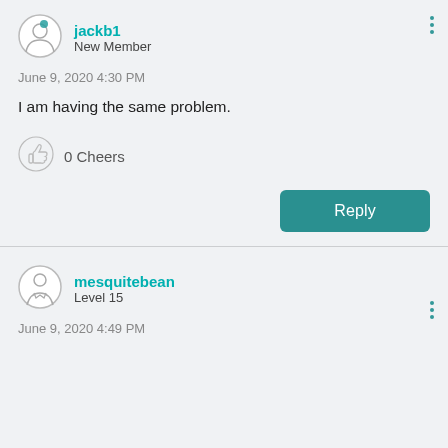[Figure (illustration): Avatar icon for user jackb1 - circular avatar with person silhouette]
jackb1
New Member
June 9, 2020 4:30 PM
I am having the same problem.
[Figure (illustration): Thumbs up / cheers icon]
0 Cheers
Reply
[Figure (illustration): Avatar icon for user mesquitebean - circular avatar with person silhouette]
mesquitebean
Level 15
June 9, 2020 4:49 PM